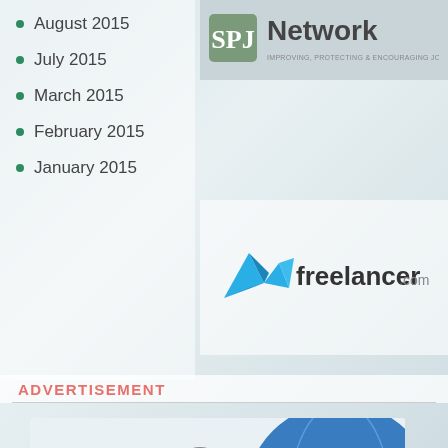August 2015
July 2015
March 2015
February 2015
January 2015
[Figure (logo): SPJ Network logo — shield/badge with letters and 'Network' text]
[Figure (logo): freelancer.com logo — origami bird and stylized text]
ADVERTISEMENT
[Figure (illustration): The Freelance Channel Podcast banner with microphone and globe]